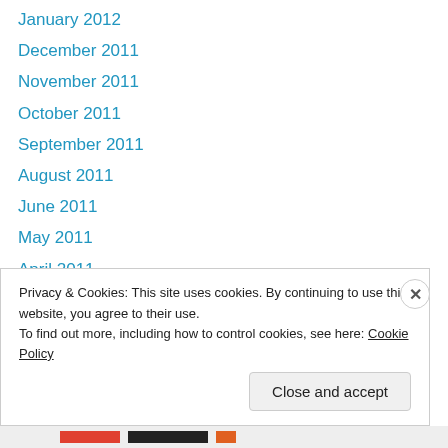January 2012
December 2011
November 2011
October 2011
September 2011
August 2011
June 2011
May 2011
April 2011
February 2011
November 2010
August 2010
July 2010
Privacy & Cookies: This site uses cookies. By continuing to use this website, you agree to their use.
To find out more, including how to control cookies, see here: Cookie Policy
Close and accept